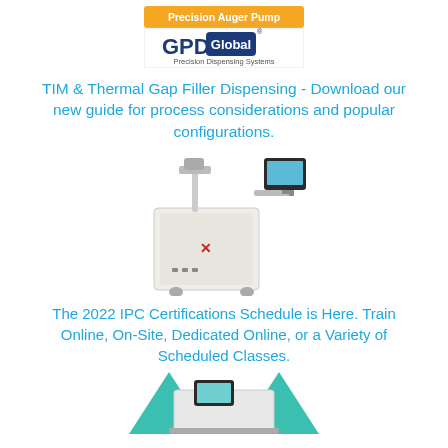[Figure (logo): GPD Global Precision Auger Pump logo banner with orange top bar and blue GPD Global text on white background]
TIM & Thermal Gap Filler Dispensing - Download our new guide for process considerations and popular configurations.
[Figure (photo): White precision dispensing machine with monitor on arm, industrial equipment]
The 2022 IPC Certifications Schedule is Here. Train Online, On-Site, Dedicated Online, or a Variety of Scheduled Classes.
[Figure (photo): Industrial machine with teal/green panels, partially visible at bottom of page]